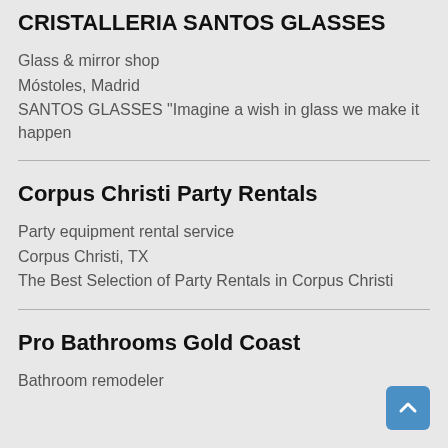CRISTALLERIA SANTOS GLASSES
Glass & mirror shop
Móstoles, Madrid
SANTOS GLASSES "Imagine a wish in glass we make it happen
Corpus Christi Party Rentals
Party equipment rental service
Corpus Christi, TX
The Best Selection of Party Rentals in Corpus Christi
Pro Bathrooms Gold Coast
Bathroom remodeler